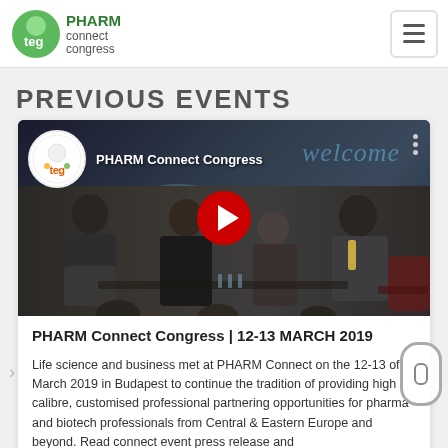PHARM Connect Congress logo and navigation hamburger menu
PREVIOUS EVENTS
[Figure (screenshot): YouTube video thumbnail showing a panel discussion at PHARM Connect Congress, with YouTube play button overlay, TEG logo, channel name 'PHARM Connect Congress', and 'welcome' text in background. Panel shows three people seated in discussion.]
PHARM Connect Congress | 12-13 MARCH 2019
Life science and business met at PHARM Connect on the 12-13 of March 2019 in Budapest to continue the tradition of providing high calibre, customised professional partnering opportunities for pharma and biotech professionals from Central & Eastern Europe and beyond. Read connect event press release and